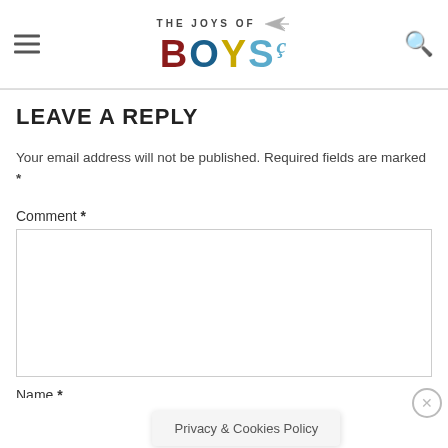THE JOYS OF BOYS
LEAVE A REPLY
Your email address will not be published. Required fields are marked *
Comment *
Name *
Privacy & Cookies Policy